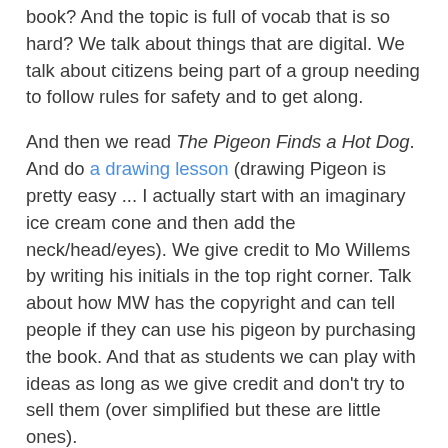book? And the topic is full of vocab that is so hard? We talk about things that are digital. We talk about citizens being part of a group needing to follow rules for safety and to get along.
And then we read The Pigeon Finds a Hot Dog. And do a drawing lesson (drawing Pigeon is pretty easy ... I actually start with an imaginary ice cream cone and then add the neck/head/eyes). We give credit to Mo Willems by writing his initials in the top right corner. Talk about how MW has the copyright and can tell people if they can use his pigeon by purchasing the book. And that as students we can play with ideas as long as we give credit and don't try to sell them (over simplified but these are little ones).
Then we add pirate accessories (P is for Pigeon and Pirate). Adorable. And talk about how pirates took things that didn't belong to them. Don't be a pirate!
I've been letting them take their drawings and never getting any pics. Bad blogging teacher librarian. So tired. LOOONG day yesterday with PTA. And a long meeting after school